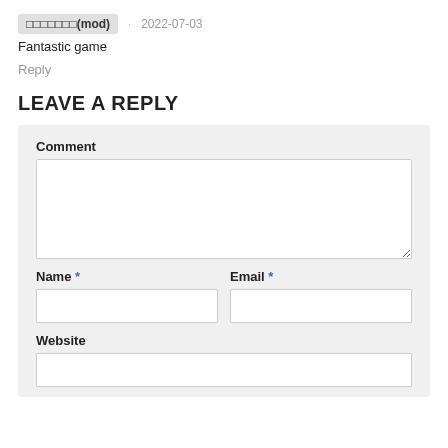□□□□□□□(mod)  ·  2022-07-03
Fantastic game
Reply
LEAVE A REPLY
Comment
Name *
Email *
Website